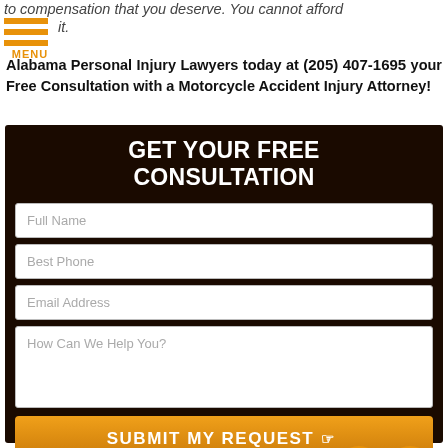to compensation that you deserve. You cannot afford it.
Alabama Personal Injury Lawyers today at (205) 407-1695 your Free Consultation with a Motorcycle Accident Injury Attorney!
[Figure (screenshot): Free consultation web form with dark background, fields for Full Name, Best Phone, Email Address, How Can We Help You, and Submit My Request button with phone and email icons]
GET YOUR FREE CONSULTATION
Full Name
Best Phone
Email Address
How Can We Help You?
SUBMIT MY REQUEST